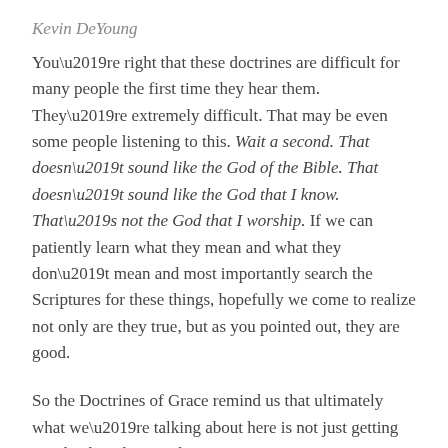Kevin DeYoung
You’re right that these doctrines are difficult for many people the first time they hear them. They’re extremely difficult. That may be even some people listening to this. Wait a second. That doesn’t sound like the God of the Bible. That doesn’t sound like the God that I know. That’s not the God that I worship. If we can patiently learn what they mean and what they don’t mean and most importantly search the Scriptures for these things, hopefully we come to realize not only are they true, but as you pointed out, they are good.
So the Doctrines of Grace remind us that ultimately what we’re talking about here is not just getting our theology buttoned up, as